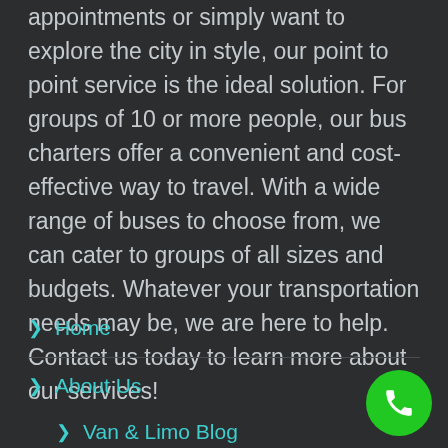appointments or simply want to explore the city in style, our point to point service is the ideal solution. For groups of 10 or more people, our bus charters offer a convenient and cost-effective way to travel. With a wide range of buses to choose from, we can cater to groups of all sizes and budgets. Whatever your transportation needs may be, we are here to help. Contact us today to learn more about our services!
Home
About Us
Van & Limo Blog
OUR FLEET